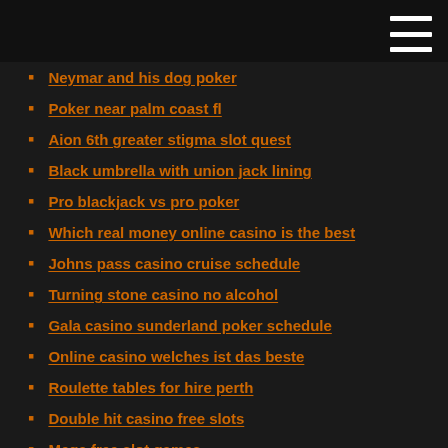Neymar and his dog poker
Poker near palm coast fl
Aion 6th greater stigma slot quest
Black umbrella with union jack lining
Pro blackjack vs pro poker
Which real money online casino is the best
Johns pass casino cruise schedule
Turning stone casino no alcohol
Gala casino sunderland poker schedule
Online casino welches ist das beste
Roulette tables for hire perth
Double hit casino free slots
Mega free slot games
Wrest point casino room prices